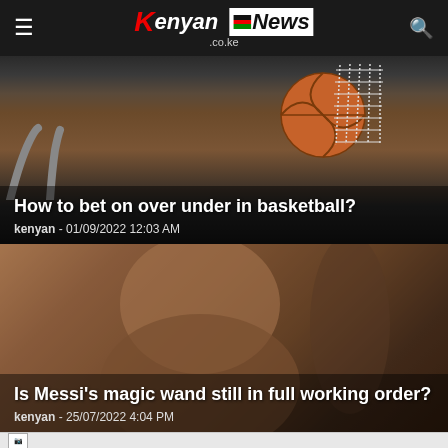Kenyan News .co.ke
[Figure (photo): Basketball approaching a hoop/net from below, with player's hands raised in background, dark arena setting]
How to bet on over under in basketball?
kenyan  -  01/09/2022 12:03 AM
[Figure (photo): Blurred close-up photo of a person (representing Messi context), warm brown/tan tones]
Is Messi's magic wand still in full working order?
kenyan  -  25/07/2022 4:04 PM